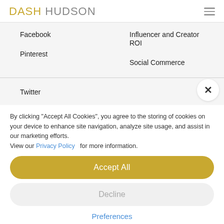DASH HUDSON
Facebook
Influencer and Creator ROI
Pinterest
Social Commerce
Twitter
By clicking "Accept All Cookies", you agree to the storing of cookies on your device to enhance site navigation, analyze site usage, and assist in our marketing efforts. View our Privacy Policy for more information.
Accept All
Decline
Preferences